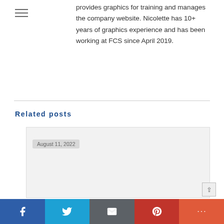provides graphics for training and manages the company website. Nicolette has 10+ years of graphics experience and has been working at FCS since April 2019.
Related posts
August 11, 2022
[Figure (screenshot): Related post card placeholder image area, light gray background]
Social share bar with Facebook, Twitter, Email, Pinterest, and More buttons